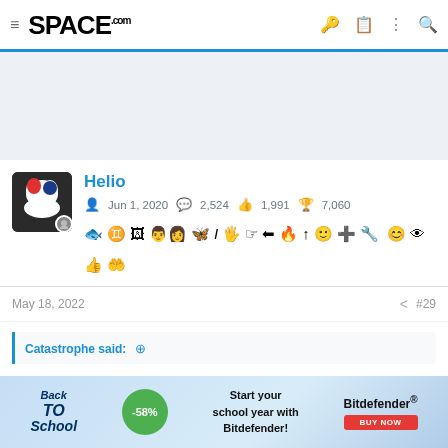SPACE.com
[Figure (other): Advertisement banner area (light blue-grey background)]
Helio
Jun 1, 2020  2,524  1,991  7,060
[Figure (other): User badges/reaction icons row]
May 18, 2022  #29
Catastrophe said: ↑
[Figure (other): Back to School Bitdefender advertisement banner: -58% discount, Start your school year with Bitdefender! BUY NOW]